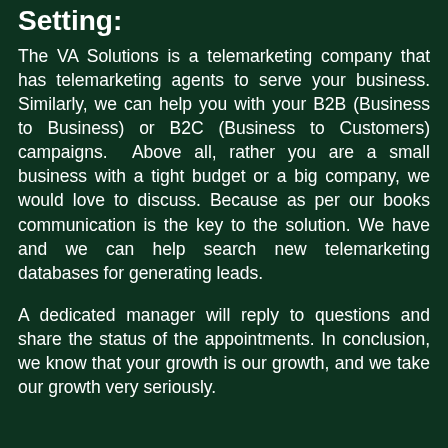Setting:
The VA Solutions is a telemarketing company that has telemarketing agents to serve your business. Similarly, we can help you with your B2B (Business to Business) or B2C (Business to Customers) campaigns. Above all, rather you are a small business with a tight budget or a big company, we would love to discuss. Because as per our books communication is the key to the solution. We have and we can help search new telemarketing databases for generating leads.
A dedicated manager will reply to questions and share the status of the appointments. In conclusion, we know that your growth is our growth, and we take our growth very seriously.